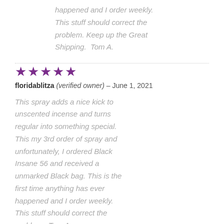happened and I order weekly. This stuff should correct the problem. Keep up the Great Shipping. Tom A.
floridablitza (verified owner) – June 1, 2021
This spray adds a nice kick to unscented incense and turns regular into something special. This my 3rd order of spray and unfortunately, I ordered Black Insane 56 and received a unmarked Black bag. This is the first time anything has ever happened and I order weekly. This stuff should correct the problem. Tom A.